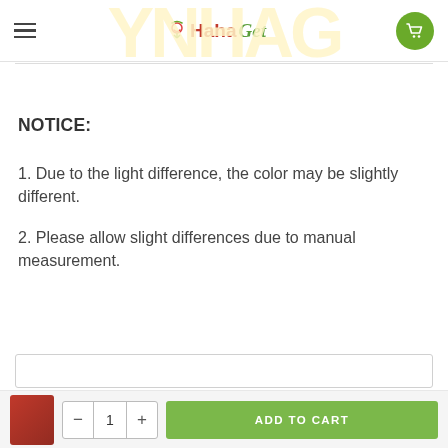HahaGet
NOTICE:
1. Due to the light difference, the color may be slightly different.
2. Please allow slight differences due to manual measurement.
Customer Reviews